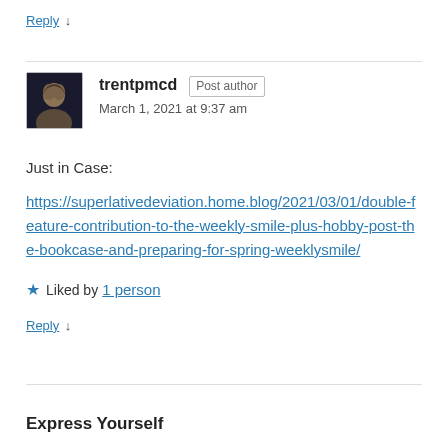Reply ↓
trentpmcd Post author
March 1, 2021 at 9:37 am
Just in Case:
https://superlativedeviation.home.blog/2021/03/01/double-feature-contribution-to-the-weekly-smile-plus-hobby-post-the-bookcase-and-preparing-for-spring-weeklysmile/
★ Liked by 1 person
Reply ↓
Express Yourself